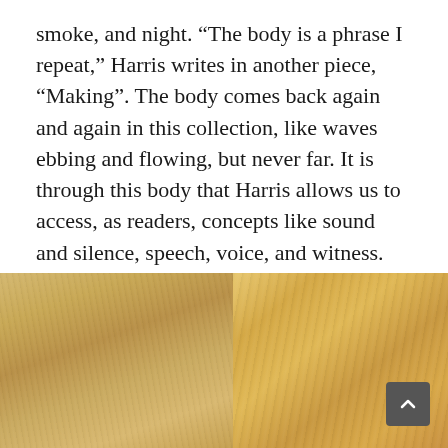smoke, and night. “The body is a phrase I repeat,” Harris writes in another piece, “Making”. The body comes back again and again in this collection, like waves ebbing and flowing, but never far. It is through this body that Harris allows us to access, as readers, concepts like sound and silence, speech, voice, and witness.
[Figure (photo): Close-up photograph of what appears to be tanned leather or animal hide showing texture, with golden-brown tones. A dark grey scroll-to-top button with an upward chevron arrow is overlaid in the bottom-right corner.]